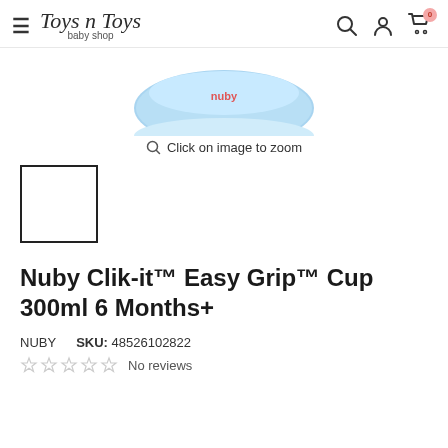Toys n Toys baby shop — navigation header with hamburger menu, search, account, and cart icons
[Figure (photo): Bottom portion of a blue Nuby Clik-it Easy Grip Cup product image, cropped at top]
Click on image to zoom
[Figure (photo): Small white thumbnail image box with black border, product thumbnail placeholder]
Nuby Clik-it™ Easy Grip™ Cup 300ml 6 Months+
NUBY    SKU: 48526102822
★★★★★ No reviews